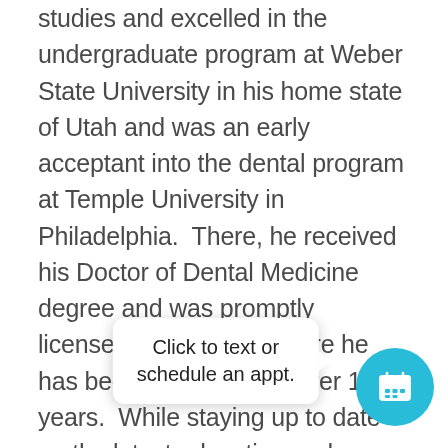studies and excelled in the undergraduate program at Weber State University in his home state of Utah and was an early acceptant into the dental program at Temple University in Philadelphia.  There, he received his Doctor of Dental Medicine degree and was promptly licensed in Colorado where he has been practicing for over 10 years.  While staying up to date on the latest education and procedures, Dr. Spencer focuses on general comprehensive treatment such as crown and bridge, root canals, fillings, veneers, and clear aligner orthodontics to ensure health and happiness for all his patients.  He prides himself on helping patients feel comfortable with innovative and he can walk his dental procedure via videos, photos, and 3D imaging. Over his career, Dr. Spencer has provided
[Figure (other): Tooltip popup saying 'Click to text or schedule an appt.' with a right-pointing arrow, overlaid on the text. A circular cyan calendar icon button appears at bottom right.]